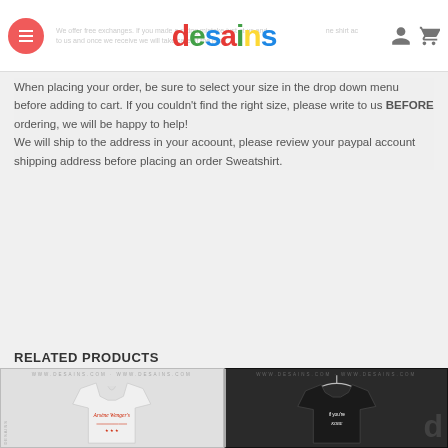desains — site header with hamburger menu, logo, user icon, cart icon
We offer free exchanges. If you made a sizing mistake just contact us and ship the shirt back to us and once we receive we will take care of the rest.
When placing your order, be sure to select your size in the drop down menu before adding to cart. If you couldn't find the right size, please write to us BEFORE ordering, we will be happy to help!
We will ship to the address in your acoount, please review your paypal account shipping address before placing an order Sweatshirt.
RELATED PRODUCTS
[Figure (photo): White t-shirt with red Arsene Wenger's graphic print]
[Figure (photo): Black t-shirt on hanger with white text graphic, desains watermark logo visible]